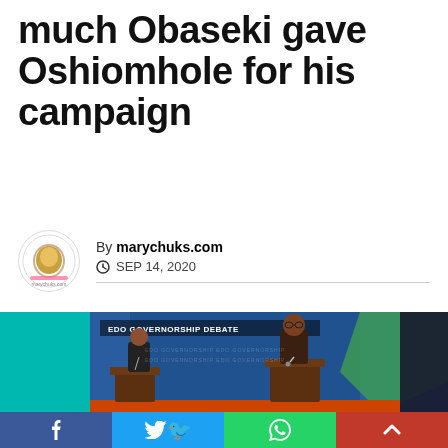much Obaseki gave Oshiomhole for his campaign
By marychuks.com · SEP 14, 2020
[Figure (photo): Two men in suits standing at podiums at the EDO Governorship Debate, teal and blue background with a green accent shape]
Facebook | Twitter | WhatsApp | Scroll up